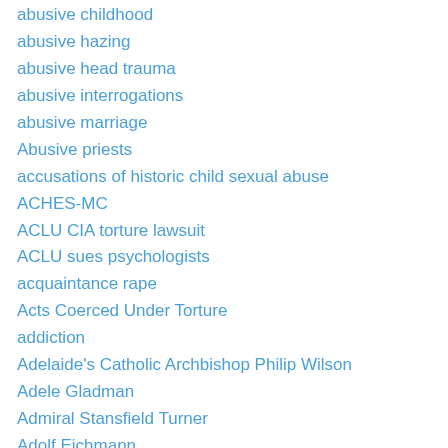abusive childhood
abusive hazing
abusive head trauma
abusive interrogations
abusive marriage
Abusive priests
accusations of historic child sexual abuse
ACHES-MC
ACLU CIA torture lawsuit
ACLU sues psychologists
acquaintance rape
Acts Coerced Under Torture
addiction
Adelaide's Catholic Archbishop Philip Wilson
Adele Gladman
Admiral Stansfield Turner
Adolf Eichmann
Adolf Hitler
Adolfo Constanzo
Adrienne LaValley